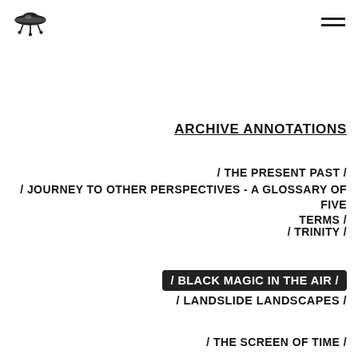[Figure (logo): UFO/flying saucer logo icon in black]
ARCHIVE ANNOTATIONS
/ THE PRESENT PAST /
/ JOURNEY TO OTHER PERSPECTIVES - A GLOSSARY OF FIVE TERMS /
/ TRINITY /
/ BLACK MAGIC IN THE AIR /
/ LANDSLIDE LANDSCAPES /
/ THE SCREEN OF TIME /